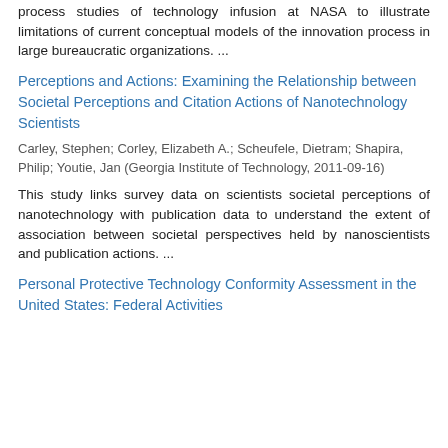process studies of technology infusion at NASA to illustrate limitations of current conceptual models of the innovation process in large bureaucratic organizations. ...
Perceptions and Actions: Examining the Relationship between Societal Perceptions and Citation Actions of Nanotechnology Scientists
Carley, Stephen; Corley, Elizabeth A.; Scheufele, Dietram; Shapira, Philip; Youtie, Jan (Georgia Institute of Technology, 2011-09-16)
This study links survey data on scientists societal perceptions of nanotechnology with publication data to understand the extent of association between societal perspectives held by nanoscientists and publication actions. ...
Personal Protective Technology Conformity Assessment in the United States: Federal Activities